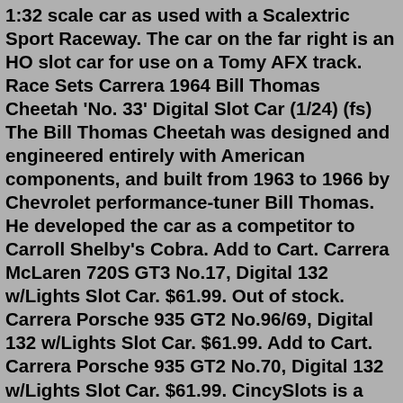1:32 scale car as used with a Scalextric Sport Raceway. The car on the far right is an HO slot car for use on a Tomy AFX track. Race Sets Carrera 1964 Bill Thomas Cheetah 'No. 33' Digital Slot Car (1/24) (fs) The Bill Thomas Cheetah was designed and engineered entirely with American components, and built from 1963 to 1966 by Chevrolet performance-tuner Bill Thomas. He developed the car as a competitor to Carroll Shelby's Cobra. Add to Cart. Carrera McLaren 720S GT3 No.17, Digital 132 w/Lights Slot Car. $61.99. Out of stock. Carrera Porsche 935 GT2 No.96/69, Digital 132 w/Lights Slot Car. $61.99. Add to Cart. Carrera Porsche 935 GT2 No.70, Digital 132 w/Lights Slot Car. $61.99. CincySlots is a division of Green Sales Company. CincySlots offers both 1/24 and 1/32 Carrera D124 D132 slot car Fly slot cars Scalextric slot cars Ninco slot cars MRRC Slot.it Policar Thunder Slot Sideways Revell Spirit Patriot Monogram Pioneer NSR BRM, Scaleauto Le Mans Miniature Strombecker TopSlot slot cars. 1/24 Scale Cars 1/43 Scale Cars 1/43 Track